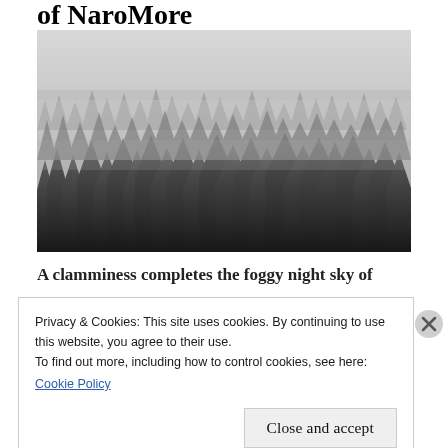of NaroMore
[Figure (photo): Black and white photograph of a foggy forest with dark evergreen tree silhouettes emerging from dense mist, creating a layered, moody atmospheric effect.]
A clamminess completes the foggy night sky of
Privacy & Cookies: This site uses cookies. By continuing to use this website, you agree to their use.
To find out more, including how to control cookies, see here:
Cookie Policy
Close and accept